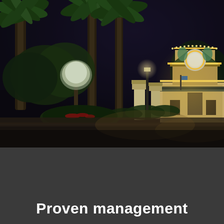[Figure (photo): Night photograph of an upscale gated community entrance. A decorative guardhouse with warm yellow lighting and ornamental roof trim is visible on the right. Tall palm trees line the entrance road. Landscape lighting illuminates manicured hedges and tropical plants. The roadway in the foreground is empty and dark.]
Proven management